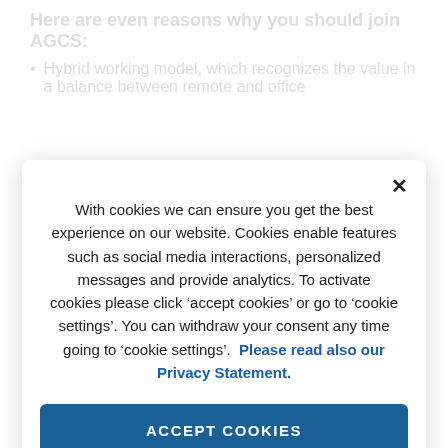Here are even reasons why you should join AGCS:
Hybrid working model, which recognizes the value in a balance between remote and office
With cookies we can ensure you get the best experience on our website. Cookies enable features such as social media interactions, personalized messages and provide analytics. To activate cookies please click ‘accept cookies’ or go to ‘cookie settings’. You can withdraw your consent any time going to ‘cookie settings’. Please read also our Privacy Statement.
ACCEPT COOKIES
REJECT ALL